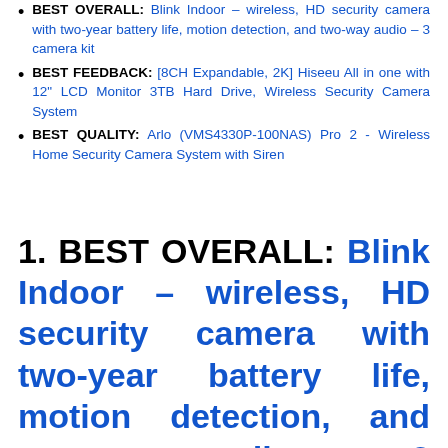BEST OVERALL: Blink Indoor – wireless, HD security camera with two-year battery life, motion detection, and two-way audio – 3 camera kit
BEST FEEDBACK: [8CH Expandable, 2K] Hiseeu All in one with 12" LCD Monitor 3TB Hard Drive, Wireless Security Camera System
BEST QUALITY: Arlo (VMS4330P-100NAS) Pro 2 - Wireless Home Security Camera System with Siren
1. BEST OVERALL: Blink Indoor – wireless, HD security camera with two-year battery life, motion detection, and two-way audio – 3 camera kit